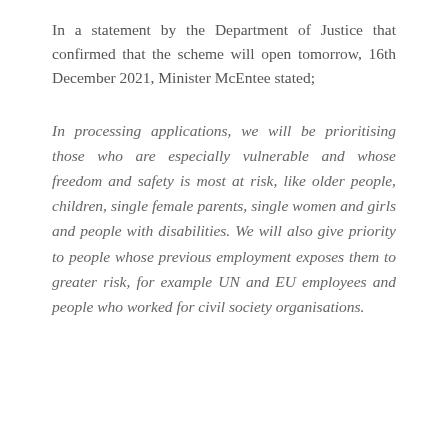In a statement by the Department of Justice that confirmed that the scheme will open tomorrow, 16th December 2021, Minister McEntee stated;
In processing applications, we will be prioritising those who are especially vulnerable and whose freedom and safety is most at risk, like older people, children, single female parents, single women and girls and people with disabilities. We will also give priority to people whose previous employment exposes them to greater risk, for example UN and EU employees and people who worked for civil society organisations.